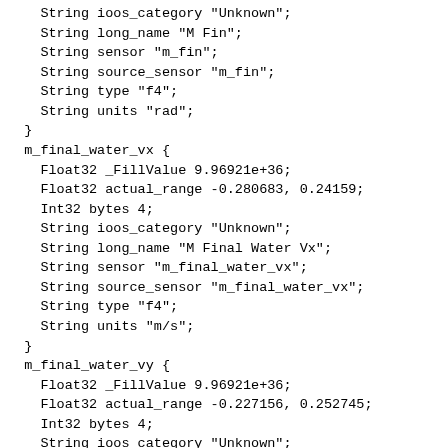String ioos_category "Unknown";
    String long_name "M Fin";
    String sensor "m_fin";
    String source_sensor "m_fin";
    String type "f4";
    String units "rad";
  }
  m_final_water_vx {
    Float32 _FillValue 9.96921e+36;
    Float32 actual_range -0.280683, 0.24159;
    Int32 bytes 4;
    String ioos_category "Unknown";
    String long_name "M Final Water Vx";
    String sensor "m_final_water_vx";
    String source_sensor "m_final_water_vx";
    String type "f4";
    String units "m/s";
  }
  m_final_water_vy {
    Float32 _FillValue 9.96921e+36;
    Float32 actual_range -0.227156, 0.252745;
    Int32 bytes 4;
    String ioos_category "Unknown";
    String long_name "M Final Water Vy";
    String sensor "m_final_water_vy";
    String source_sensor "m_final_water_vy";